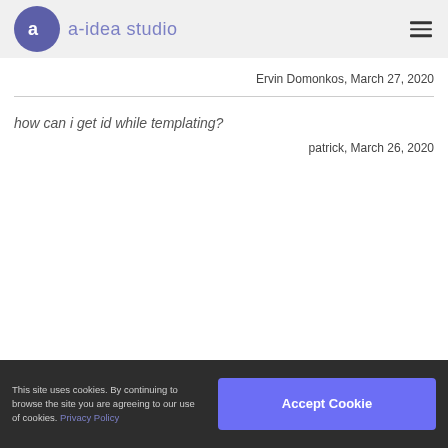a-idea studio
Ervin Domonkos, March 27, 2020
how can i get id while templating?
patrick, March 26, 2020
This site uses cookies. By continuing to browse the site you are agreeing to our use of cookies. Privacy Policy  [Accept Cookie button]